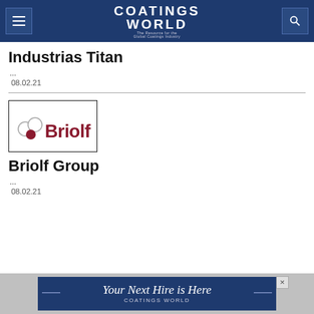Coatings World
Industrias Titan
...
08.02.21
Briolf Group
[Figure (logo): Briolf logo: three circles and 'Briolf' text in dark red/maroon on white background with black border]
...
08.02.21
[Figure (infographic): Advertisement banner: 'Your Next Hire is Here - Coatings World' on blue background]